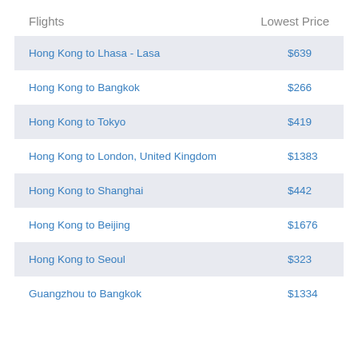| Flights | Lowest Price |
| --- | --- |
| Hong Kong to Lhasa - Lasa | $639 |
| Hong Kong to Bangkok | $266 |
| Hong Kong to Tokyo | $419 |
| Hong Kong to London, United Kingdom | $1383 |
| Hong Kong to Shanghai | $442 |
| Hong Kong to Beijing | $1676 |
| Hong Kong to Seoul | $323 |
| Guangzhou to Bangkok | $1334 |